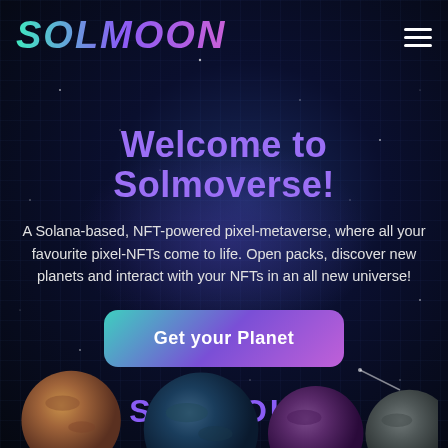SOLMOON
Welcome to Solmoverse!
A Solana-based, NFT-powered pixel-metaverse, where all your favourite pixel-NFTs come to life. Open packs, discover new planets and interact with your NFTs in an all new universe!
Get your Planet
SOLD OUT
[Figure (illustration): Three pixel-art planets visible at the bottom: a brownish-tan planet on the left, a dark blue-green planet in the center, and a purple planet and a gray planet on the right, against a dark space background.]